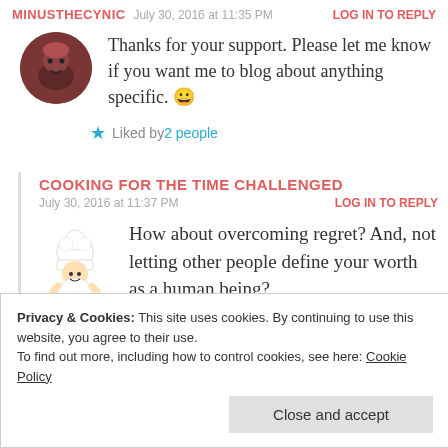MINUSTHECYNIC   July 30, 2016 at 11:35 PM   LOG IN TO REPLY
Thanks for your support. Please let me know if you want me to blog about anything specific. 😀
★ Liked by 2 people
COOKING FOR THE TIME CHALLENGED
July 30, 2016 at 11:37 PM   LOG IN TO REPLY
How about overcoming regret? And, not letting other people define your worth as a human being?
Privacy & Cookies: This site uses cookies. By continuing to use this website, you agree to their use.
To find out more, including how to control cookies, see here: Cookie Policy
Close and accept